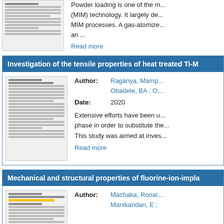[Figure (illustration): Thumbnail image of a document page - partial view from previous card]
Powder loading is one of the m... (MIM) technology. It largely de... MIM processes. A gas-atomize... an ...
Read more
Investigation of the tensile properties of heat treated Ti-M...
[Figure (illustration): Thumbnail image of an academic paper page]
Author: Raganya, Mamp... Obadele, BA ; O...
Date: 2020
Extensive efforts have been u... phase in order to substitute the... This study was aimed at inves...
Read more
Mechanical and structural properties of fluorine-ion-impla...
[Figure (illustration): Thumbnail image of an academic paper with yellow highlighted title]
Author: Machaka, Ronal... Manikandan, E ; ...